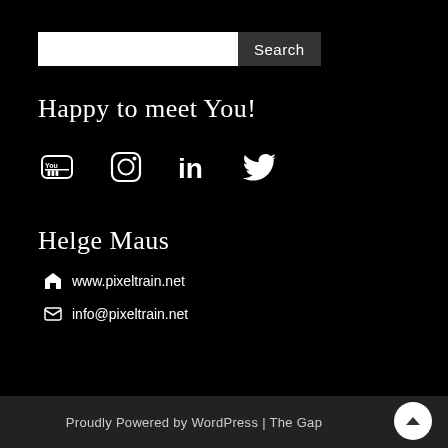[Figure (screenshot): Search bar with white input field and dark 'Search' button]
Happy to meet You!
[Figure (infographic): Social media icons: YouTube, Instagram, LinkedIn, Twitter]
Helge Maus
www.pixeltrain.net
info@pixeltrain.net
Proudly Powered by WordPress | The Gap